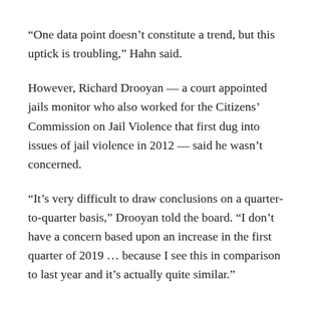“One data point doesn’t constitute a trend, but this uptick is troubling,” Hahn said.
However, Richard Drooyan — a court appointed jails monitor who also worked for the Citizens’ Commission on Jail Violence that first dug into issues of jail violence in 2012 — said he wasn’t concerned.
“It’s very difficult to draw conclusions on a quarter-to-quarter basis,” Drooyan told the board. “I don’t have a concern based upon an increase in the first quarter of 2019 … because I see this in comparison to last year and it’s actually quite similar.”